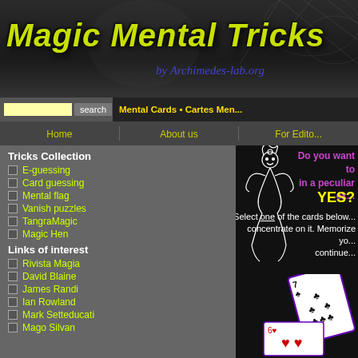[Figure (screenshot): Magic Mental Tricks website header with dark background, spider web texture, partially visible face, title 'Magic Mental Tricks' in yellow-green italic font, subtitle 'by Archimedes-lab.org' in blue italic]
Magic Mental Tricks by Archimedes-lab.org
Mental Cards • Cartes Men...
Home
About us
For Edito...
Tricks Collection
E-guessing
Card guessing
Mental flag
Vanish puzzles
TangraMagic
Magic Hen
Links of interest
Rivista Magia
David Blaine
James Randi
Ian Rowland
Mark Setteducati
Mago Silvan
Do you want to... in a peculiar ex...
YES?
Select one of the cards below... concentrate on it. Memorize yo... continue...
[Figure (illustration): Jester/dancer figure illustration in white line art on black background]
[Figure (illustration): Playing cards: 7 of clubs tilted, and heart cards at bottom]